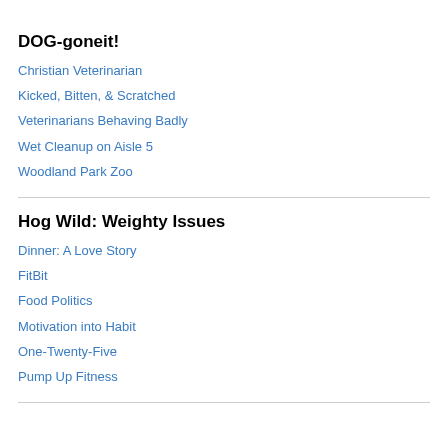DOG-goneit!
Christian Veterinarian
Kicked, Bitten, & Scratched
Veterinarians Behaving Badly
Wet Cleanup on Aisle 5
Woodland Park Zoo
Hog Wild: Weighty Issues
Dinner: A Love Story
FitBit
Food Politics
Motivation into Habit
One-Twenty-Five
Pump Up Fitness